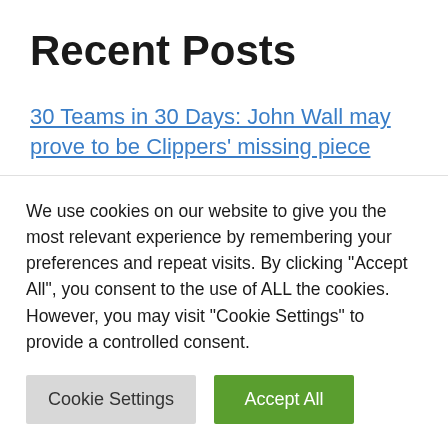Recent Posts
30 Teams in 30 Days: John Wall may prove to be Clippers' missing piece
Yankees' 6 on immediate hot seat: Josh Donaldson, Isiah Kiner-Falefa, more
Can the Donovan Mitchell trade help solve…
We use cookies on our website to give you the most relevant experience by remembering your preferences and repeat visits. By clicking "Accept All", you consent to the use of ALL the cookies. However, you may visit "Cookie Settings" to provide a controlled consent.